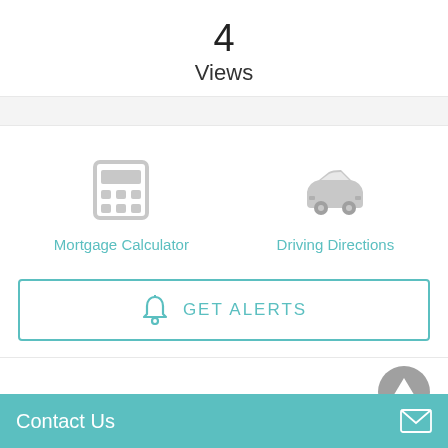4
Views
[Figure (illustration): Calculator icon (gray) with label 'Mortgage Calculator' in teal]
[Figure (illustration): Car/driving icon (gray) with label 'Driving Directions' in teal]
GET ALERTS
Property Details
Contact Us